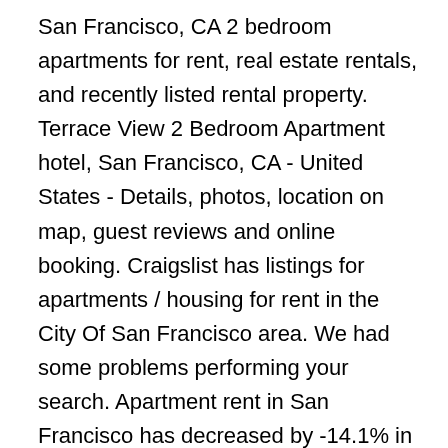San Francisco, CA 2 bedroom apartments for rent, real estate rentals, and recently listed rental property. Terrace View 2 Bedroom Apartment hotel, San Francisco, CA - United States - Details, photos, location on map, guest reviews and online booking. Craigslist has listings for apartments / housing for rent in the City Of San Francisco area. We had some problems performing your search. Apartment rent in San Francisco has decreased by -14.1% in the past year. view details Call Now (669) 239-2846 check availability. This bayside city offers something for everyone. Use our detailed filters to find the perfect place, then get in touch with the property manager. San Francisco, CA 2 Bedroom Apartments for Rent. Several universities and colleges call San Francisco home, including the University of San Francisco. San